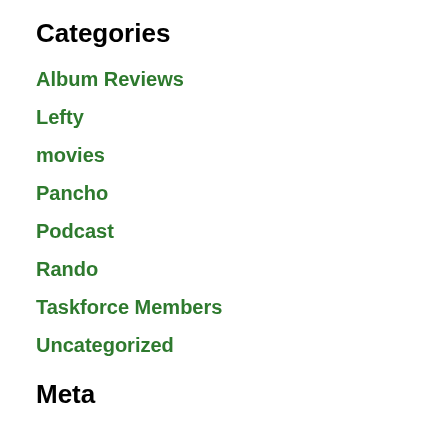Categories
Album Reviews
Lefty
movies
Pancho
Podcast
Rando
Taskforce Members
Uncategorized
Meta